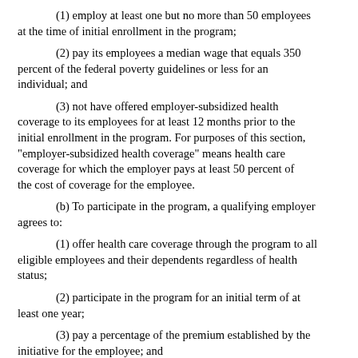(1) employ at least one but no more than 50 employees at the time of initial enrollment in the program;
(2) pay its employees a median wage that equals 350 percent of the federal poverty guidelines or less for an individual; and
(3) not have offered employer-subsidized health coverage to its employees for at least 12 months prior to the initial enrollment in the program. For purposes of this section, "employer-subsidized health coverage" means health care coverage for which the employer pays at least 50 percent of the cost of coverage for the employee.
(b) To participate in the program, a qualifying employer agrees to:
(1) offer health care coverage through the program to all eligible employees and their dependents regardless of health status;
(2) participate in the program for an initial term of at least one year;
(3) pay a percentage of the premium established by the initiative for the employee; and